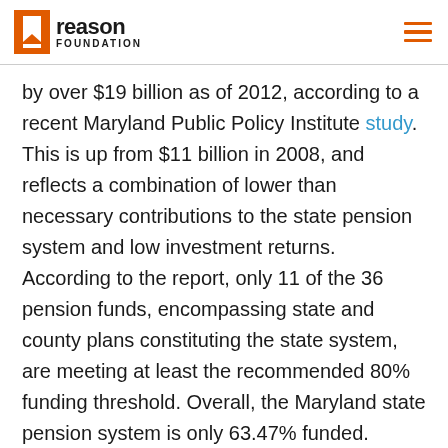Reason Foundation
by over $19 billion as of 2012, according to a recent Maryland Public Policy Institute study. This is up from $11 billion in 2008, and reflects a combination of lower than necessary contributions to the state pension system and low investment returns. According to the report, only 11 of the 36 pension funds, encompassing state and county plans constituting the state system, are meeting at least the recommended 80% funding threshold. Overall, the Maryland state pension system is only 63.47% funded.
Funding levels range widely. The Maryland Transit Administration has the least funded plan (44.38%),